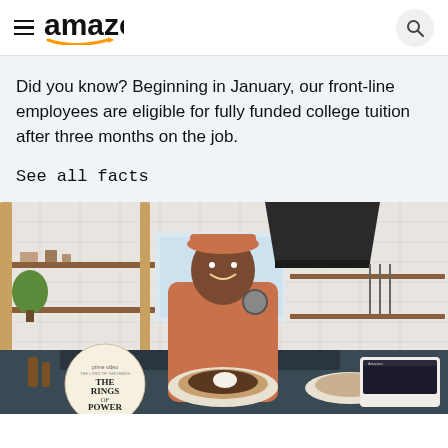amazon
Did you know? Beginning in January, our front-line employees are eligible for fully funded college tuition after three months on the job.
See all facts
[Figure (photo): A smiling man in an orange cap and shirt stands in a stylish kitchen holding a ring light or small device, with food dishes on the counter and a Prime Video Rings of Power promotional item visible. An Amazon display device shows a recipe card.]